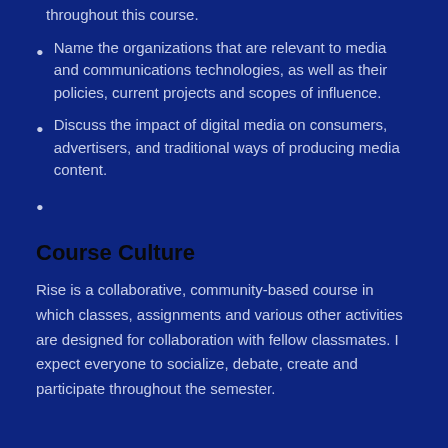throughout this course.
Name the organizations that are relevant to media and communications technologies, as well as their policies, current projects and scopes of influence.
Discuss the impact of digital media on consumers, advertisers, and traditional ways of producing media content.
Course Culture
Rise is a collaborative, community-based course in which classes, assignments and various other activities are designed for collaboration with fellow classmates. I expect everyone to socialize, debate, create and participate throughout the semester.